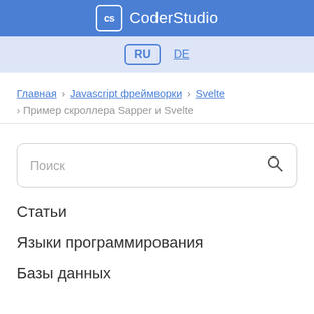CoderStudio
RU  DE
Главная › Javascript фреймворки › Svelte › Пример скроллера Sapper и Svelte
Поиск
Статьи
Языки программирования
Базы данных